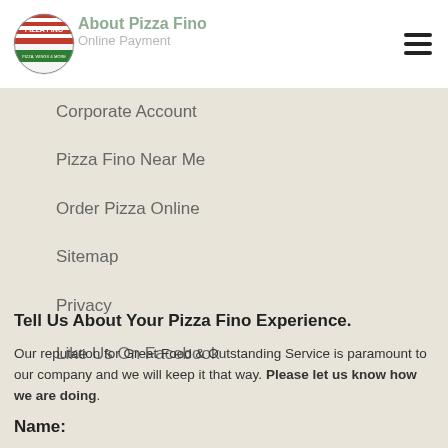[Figure (logo): Pizza Fino logo — circular badge with red, white, and green colors, text 'PIZZA FINO' and 'PIZZA, WINGS & MORE']
About Pizza Fino
Online Payment
Corporate Account
Pizza Fino Near Me
Order Pizza Online
Sitemap
Privacy
Like Us On Facebook
Tell Us About Your Pizza Fino Experience.
Our reputation for Great Food & Outstanding Service is paramount to our company and we will keep it that way. Please let us know how we are doing.
Name: